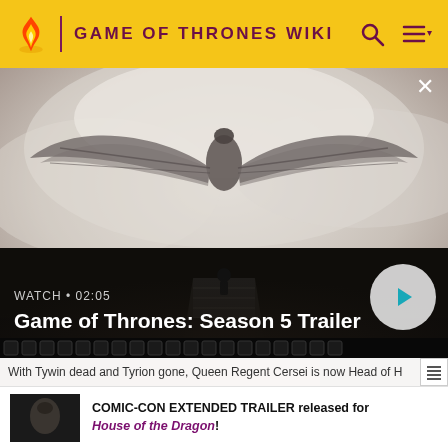GAME OF THRONES WIKI
[Figure (screenshot): Game of Thrones Season 5 Trailer video thumbnail showing a figure standing on a bridge with a large dragon with spread wings in misty sky above]
WATCH • 02:05
Game of Thrones: Season 5 Trailer
With Tywin dead and Tyrion gone, Queen Regent Cersei is now Head of H
COMIC-CON EXTENDED TRAILER released for House of the Dragon!